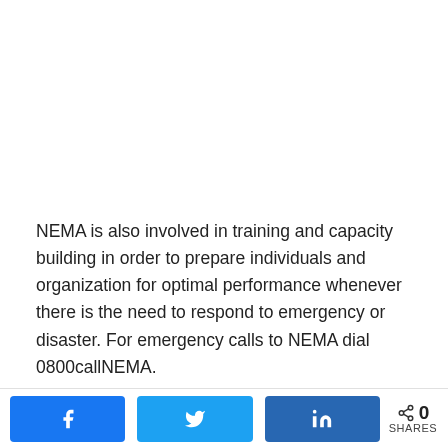NEMA is also involved in training and capacity building in order to prepare individuals and organization for optimal performance whenever there is the need to respond to emergency or disaster. For emergency calls to NEMA dial 0800callNEMA.
FLYING DOCTORS NIGERIA (FDN)
Flying Doctors Nigeria is a private ambulance services company that prides itself as West Africa's first full air ambulance service. It was founded by Dr. Ola Orekurin, a
[Figure (other): Social share bar with Facebook, Twitter, LinkedIn share buttons and a share count of 0 SHARES]